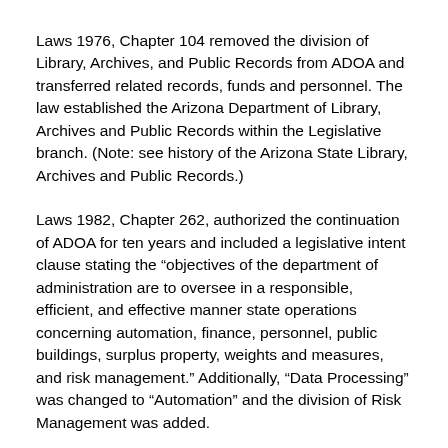Laws 1976, Chapter 104 removed the division of Library, Archives, and Public Records from ADOA and transferred related records, funds and personnel. The law established the Arizona Department of Library, Archives and Public Records within the Legislative branch. (Note: see history of the Arizona State Library, Archives and Public Records.)
Laws 1982, Chapter 262, authorized the continuation of ADOA for ten years and included a legislative intent clause stating the “objectives of the department of administration are to oversee in a responsible, efficient, and effective manner state operations concerning automation, finance, personnel, public buildings, surplus property, weights and measures, and risk management.” Additionally, “Data Processing” was changed to “Automation” and the division of Risk Management was added.
Laws 1983, Chapter 98 was a lengthy measure that removed statutory references to specific ADOA divisions and instead gave the director authority to establish, abolish, or reorganize the positions or organizational units within the Department. In addition, the law transferred the authority to create personnel rules from the Personnel Board to the ADOA Director. That same